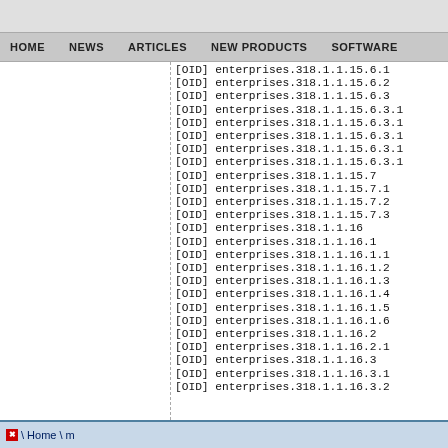HOME   NEWS   ARTICLES   NEW PRODUCTS   SOFTWARE
[OID] enterprises.318.1.1.15.6.1
[OID] enterprises.318.1.1.15.6.2
[OID] enterprises.318.1.1.15.6.3
[OID] enterprises.318.1.1.15.6.3.1
[OID] enterprises.318.1.1.15.6.3.1
[OID] enterprises.318.1.1.15.6.3.1
[OID] enterprises.318.1.1.15.6.3.1
[OID] enterprises.318.1.1.15.6.3.1
[OID] enterprises.318.1.1.15.7
[OID] enterprises.318.1.1.15.7.1
[OID] enterprises.318.1.1.15.7.2
[OID] enterprises.318.1.1.15.7.3
[OID] enterprises.318.1.1.16
[OID] enterprises.318.1.1.16.1
[OID] enterprises.318.1.1.16.1.1
[OID] enterprises.318.1.1.16.1.2
[OID] enterprises.318.1.1.16.1.3
[OID] enterprises.318.1.1.16.1.4
[OID] enterprises.318.1.1.16.1.5
[OID] enterprises.318.1.1.16.1.6
[OID] enterprises.318.1.1.16.2
[OID] enterprises.318.1.1.16.2.1
[OID] enterprises.318.1.1.16.3
[OID] enterprises.318.1.1.16.3.1
[OID] enterprises.318.1.1.16.3.2
\ Home \ m